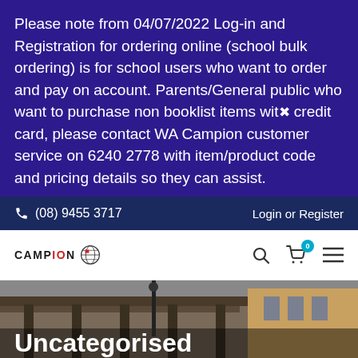Please note from 04/07/2022 Log-in and Registration for ordering online (school bulk ordering) is for school users who want to order and pay on account. Parents/General public who want to purchase non booklist items with credit card, please contact WA Campion customer service on 6240 2778 with item/product code and pricing details so they can assist.
(08) 9455 3717   Login or Register
[Figure (logo): Campion Education logo with globe icon]
[Figure (screenshot): Hero image of a school building exterior with covered walkway, partially visible]
Uncategorised